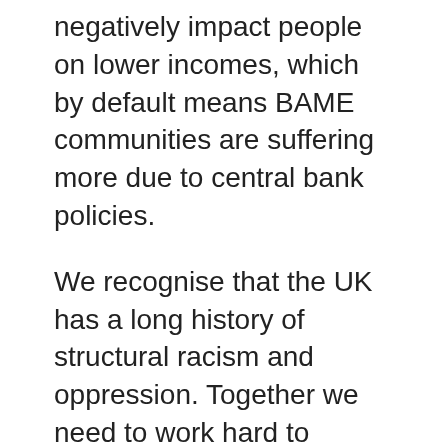negatively impact people on lower incomes, which by default means BAME communities are suffering more due to central bank policies.
We recognise that the UK has a long history of structural racism and oppression. Together we need to work hard to challenge ourselves and our institutions to do much better, and to move towards anti-racist policies and structures. Knowledge and understanding; honesty about where we are and where we need to be; and focussed determination to get there are the key ingredients to achieving this change.